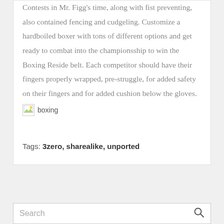Contests in Mr. Figg's time, along with fist preventing, also contained fencing and cudgeling. Customize a hardboiled boxer with tons of different options and get ready to combat into the championsship to win the Boxing Reside belt. Each competitor should have their fingers properly wrapped, pre-struggle, for added safety on their fingers and for added cushion below the gloves.
[Figure (photo): Broken image placeholder with alt text 'boxing']
Tags: 3zero, sharealike, unported